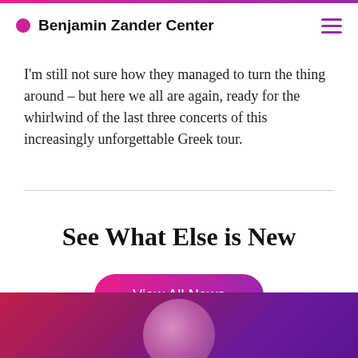Benjamin Zander Center
I'm still not sure how they managed to turn the thing around – but here we all are again, ready for the whirlwind of the last three concerts of this increasingly unforgettable Greek tour.
See What Else is New
View All News
[Figure (photo): Bottom gradient banner with partially visible circular portrait photo against a deep magenta-to-purple gradient background]